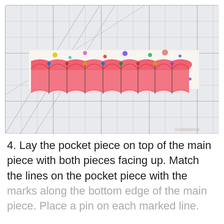[Figure (photo): A photo showing a pink/red fabric piece with scalloped folds pinned to a white patterned fabric piece, laid flat on a gridded cutting mat.]
4. Lay the pocket piece on top of the main piece with both pieces facing up. Match the lines on the pocket piece with the marks along the bottom edge of the main piece. Place a pin on each marked line.